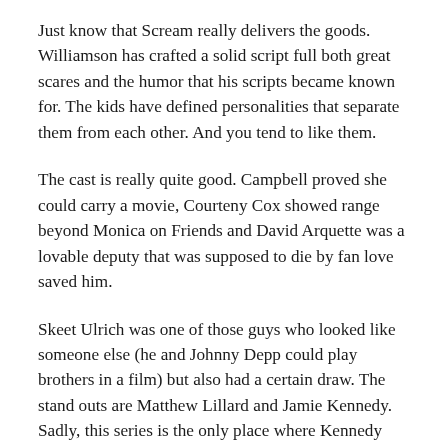Just know that Scream really delivers the goods. Williamson has crafted a solid script full both great scares and the humor that his scripts became known for. The kids have defined personalities that separate them from each other. And you tend to like them.
The cast is really quite good. Campbell proved she could carry a movie, Courteny Cox showed range beyond Monica on Friends and David Arquette was a lovable deputy that was supposed to die by fan love saved him.
Skeet Ulrich was one of those guys who looked like someone else (he and Johnny Depp could play brothers in a film) but also had a certain draw. The stand outs are Matthew Lillard and Jamie Kennedy. Sadly, this series is the only place where Kennedy shined. Lillard just turns the insanity up throughout this film and is a real goofy joy to watch chew the scenery.
This is a nice comeback for Craven on the heels of